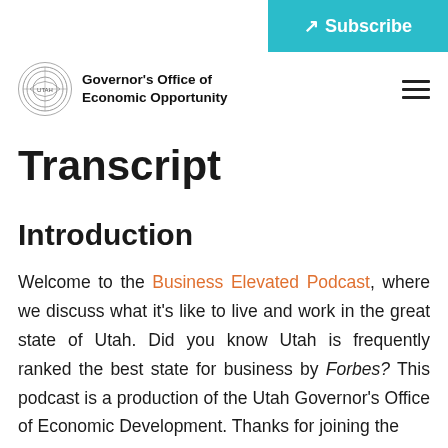[Figure (logo): Subscribe button with teal background, white text and external link icon]
Governor's Office of Economic Opportunity
Transcript
Introduction
Welcome to the Business Elevated Podcast, where we discuss what it's like to live and work in the great state of Utah. Did you know Utah is frequently ranked the best state for business by Forbes? This podcast is a production of the Utah Governor's Office of Economic Development. Thanks for joining the